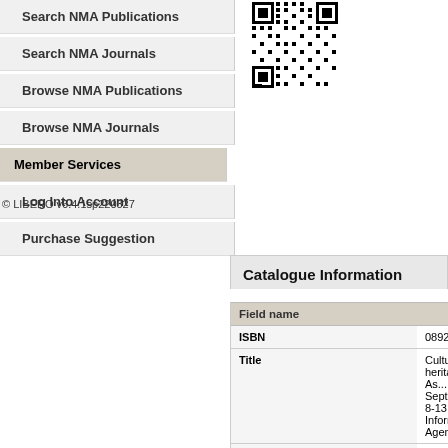Search NMA Publications
Search NMA Journals
Browse NMA Publications
Browse NMA Journals
Member Services
Log Into Account
Purchase Suggestion
[Figure (other): QR code image]
© LIBERO v6.4.1sp220327
Catalogue Information
| Field name |  |
| --- | --- |
| ISBN | 0892362480 |
| Title | Cultural heritage in As... September 8-13, 199... Information Agency w... |
| Publisher &/or associated date/s | Marina Del Rey, Calif.... |